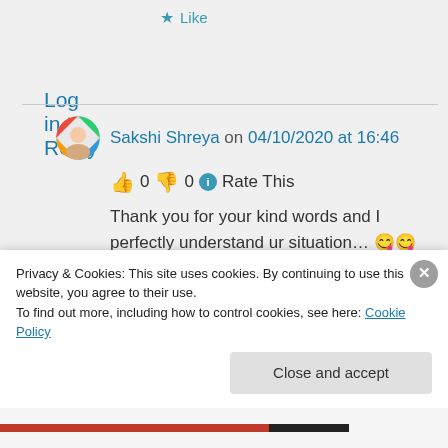★ Like
Log in to Reply
Sakshi Shreya on 04/10/2020 at 16:46
👍 0 👎 0 ℹ Rate This
Thank you for your kind words and I perfectly understand ur situation… 😊😊 happy blogging and best of luck…👍👍👍
Privacy & Cookies: This site uses cookies. By continuing to use this website, you agree to their use.
To find out more, including how to control cookies, see here: Cookie Policy
Close and accept